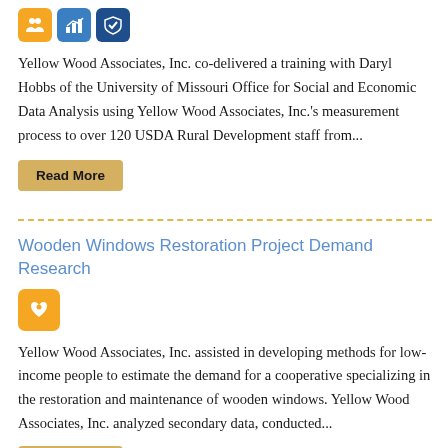[Figure (illustration): Three icon boxes in a row: orange with handshake, blue with chart/arrow, dark blue with checkmark/badge]
Yellow Wood Associates, Inc. co-delivered a training with Daryl Hobbs of the University of Missouri Office for Social and Economic Data Analysis using Yellow Wood Associates, Inc.'s measurement process to over 120 USDA Rural Development staff from...
Read More
Wooden Windows Restoration Project Demand Research
[Figure (illustration): Single orange icon box with heart/hands icon]
Yellow Wood Associates, Inc. assisted in developing methods for low-income people to estimate the demand for a cooperative specializing in the restoration and maintenance of wooden windows. Yellow Wood Associates, Inc. analyzed secondary data, conducted...
Read More